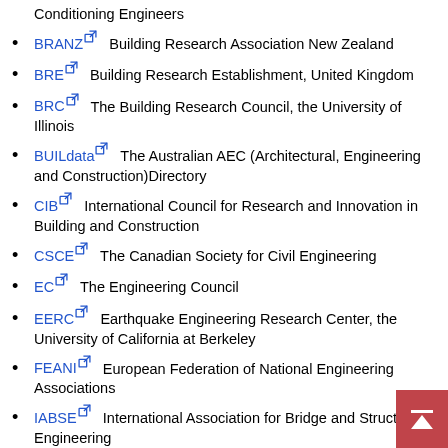Conditioning Engineers
BRANZ  Building Research Association New Zealand
BRE  Building Research Establishment, United Kingdom
BRC  The Building Research Council, the University of Illinois
BUILdata  The Australian AEC (Architectural, Engineering and Construction)Directory
CIB  International Council for Research and Innovation in Building and Construction
CSCE  The Canadian Society for Civil Engineering
EC  The Engineering Council
EERC  Earthquake Engineering Research Center, the University of California at Berkeley
FEANI  European Federation of National Engineering Associations
IABSE  International Association for Bridge and Structural Engineering
IAR  Initiative for Architectural Research